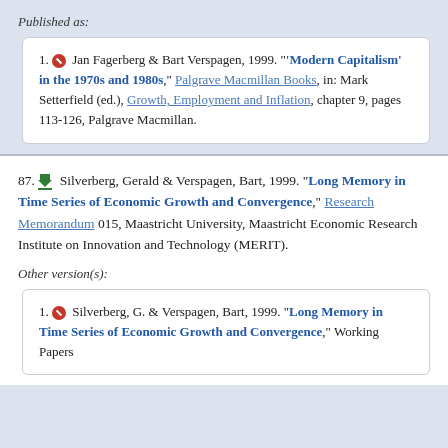Published as:
1. [no-access icon] Jan Fagerberg & Bart Verspagen, 1999. "'Modern Capitalism' in the 1970s and 1980s," Palgrave Macmillan Books, in: Mark Setterfield (ed.), Growth, Employment and Inflation, chapter 9, pages 113-126, Palgrave Macmillan.
87. [download icon] Silverberg, Gerald & Verspagen, Bart, 1999. "Long Memory in Time Series of Economic Growth and Convergence," Research Memorandum 015, Maastricht University, Maastricht Economic Research Institute on Innovation and Technology (MERIT).
Other version(s):
1. [no-access icon] Silverberg, G. & Verspagen, Bart, 1999. "Long Memory in Time Series of Economic Growth and Convergence," Working Papers